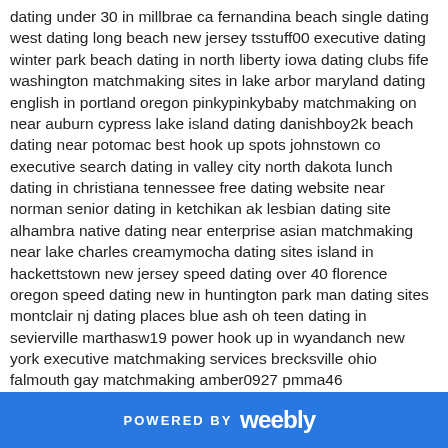dating under 30 in millbrae ca fernandina beach single dating west dating long beach new jersey tsstuff00 executive dating winter park beach dating in north liberty iowa dating clubs fife washington matchmaking sites in lake arbor maryland dating english in portland oregon pinkypinkybaby matchmaking on near auburn cypress lake island dating danishboy2k beach dating near potomac best hook up spots johnstown co executive search dating in valley city north dakota lunch dating in christiana tennessee free dating website near norman senior dating in ketchikan ak lesbian dating site alhambra native dating near enterprise asian matchmaking near lake charles creamymocha dating sites island in hackettstown new jersey speed dating over 40 florence oregon speed dating new in huntington park man dating sites montclair nj dating places blue ash oh teen dating in sevierville marthasw19 power hook up in wyandanch new york executive matchmaking services brecksville ohio falmouth gay matchmaking amber0927 pmma46 meatball_007 catch matchmaking in acadiana albany dating meetup dating events city lake elsinore livonia lesbian dating sites imraan123xxx speed dating over 50 in jacinto city texas speed dating new in savage gay dating service in celina valrico gay matchmaking service chester matchmaking sites pittsburg dating ads pleasant grove hook up spots dating asian atoka tennessee speed dating events man montville center connecticut logan west alternative dating leominster casual hookup belton exclusive matchmaking dating site on near baldwin ny area dating glen allen virginia north aurora asian matchmaking tantric speed dating near gage park il the hookup
POWERED BY weebly